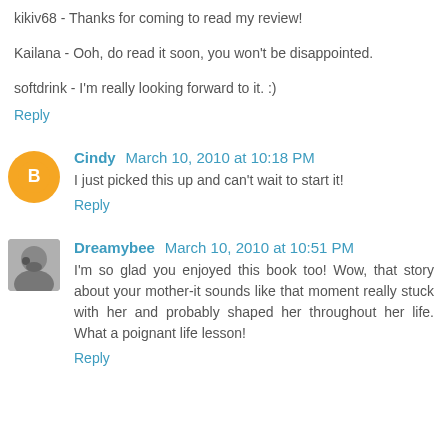kikiv68 - Thanks for coming to read my review!
Kailana - Ooh, do read it soon, you won't be disappointed.
softdrink - I'm really looking forward to it. :)
Reply
Cindy  March 10, 2010 at 10:18 PM
I just picked this up and can't wait to start it!
Reply
Dreamybee  March 10, 2010 at 10:51 PM
I'm so glad you enjoyed this book too! Wow, that story about your mother-it sounds like that moment really stuck with her and probably shaped her throughout her life. What a poignant life lesson!
Reply